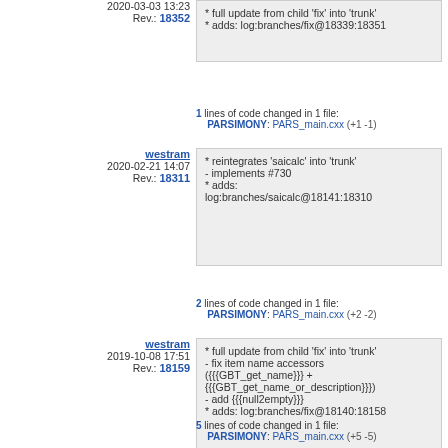2020-03-03 13:23
Rev.: 18352
* full update from child 'fix' into 'trunk'
* adds: log:branches/fix@18339:18351
1 lines of code changed in 1 file:
PARSIMONY: PARS_main.cxx (+1 -1)
westram
2020-02-21 14:07
Rev.: 18311
* reintegrates 'saicalc' into 'trunk'
- implements #730
* adds:
log:branches/saicalc@18141:18310
2 lines of code changed in 1 file:
PARSIMONY: PARS_main.cxx (+2 -2)
westram
2019-10-08 17:51
Rev.: 18159
* full update from child 'fix' into 'trunk'
- fix item name accessors
({{{GBT_get_name}}} +
{{{GBT_get_name_or_description}}})
- add {{{null2empty}}}
* adds: log:branches/fix@18140:18158
5 lines of code changed in 1 file:
PARSIMONY: PARS_main.cxx (+5 -5)